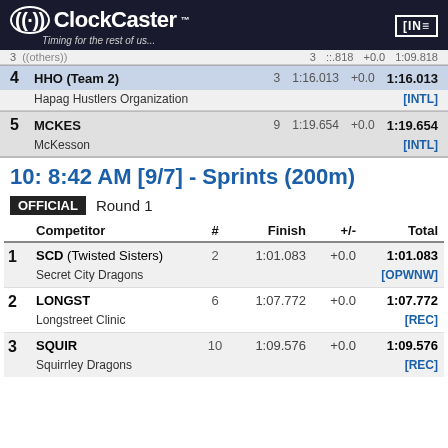[Figure (logo): ClockCaster logo with tagline 'Timing for the rest of us...' on dark background]
|  | Competitor | # | Finish | +/- | Total |
| --- | --- | --- | --- | --- | --- |
| 4 | HHO (Team 2) / Hapag Hustlers Organization | 3 | 1:16.013 | +0.0 | 1:16.013 [INTL] |
| 5 | MCKES / McKesson | 9 | 1:19.654 | +0.0 | 1:19.654 [INTL] |
10: 8:42 AM [9/7] - Sprints (200m)
OFFICIAL  Round 1
|  | Competitor | # | Finish | +/- | Total |
| --- | --- | --- | --- | --- | --- |
| 1 | SCD (Twisted Sisters) / Secret City Dragons | 2 | 1:01.083 | +0.0 | 1:01.083 [OPWNW] |
| 2 | LONGST / Longstreet Clinic | 6 | 1:07.772 | +0.0 | 1:07.772 [REC] |
| 3 | SQUIR / Squirrley Dragons | 10 | 1:09.576 | +0.0 | 1:09.576 [REC] |